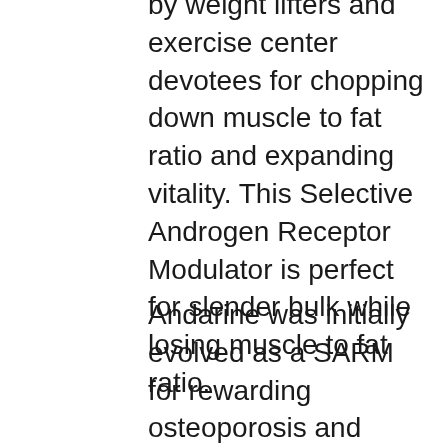by weight lifters and exercise center devotees for chopping down muscle to fat ratio and expanding vitality. This Selective Androgen Receptor Modulator is perfect for slender bulk while losing muscle to fat ratio.
Andarine was initially evolved as a SARM for rewarding osteoporosis and muscle squandering illnesses. This SARM has exhibited guarantee to build bulk, quality, and bone thickness. Known for having extraordinary muscle building properties and high oral